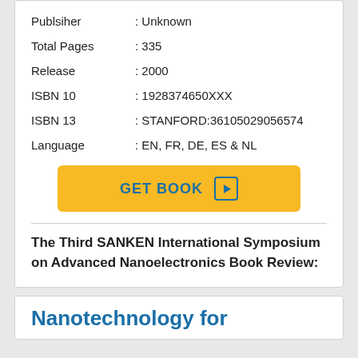| Field | Value |
| --- | --- |
| Publsiher | : Unknown |
| Total Pages | : 335 |
| Release | : 2000 |
| ISBN 10 | : 1928374650XXX |
| ISBN 13 | : STANFORD:36105029056574 |
| Language | : EN, FR, DE, ES & NL |
GET BOOK
The Third SANKEN International Symposium on Advanced Nanoelectronics Book Review:
Nanotechnology for